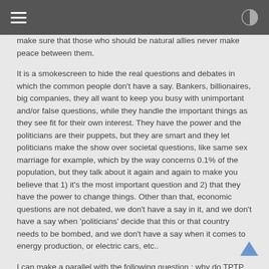[navigation header with menu and contrast icons]
make sure that those who should be natural allies never make peace between them.
It is a smokescreen to hide the real questions and debates in which the common people don't have a say. Bankers, billionaires, big companies, they all want to keep you busy with unimportant and/or false questions, while they handle the important things as they see fit for their own interest. They have the power and the politicians are their puppets, but they are smart and they let politicians make the show over societal questions, like same sex marriage for example, which by the way concerns 0.1% of the population, but they talk about it again and again to make you believe that 1) it's the most important question and 2) that they have the power to change things. Other than that, economic questions are not debated, we don't have a say in it, and we don't have a say when 'politicians' decide that this or that country needs to be bombed, and we don't have a say when it comes to energy production, or electric cars, etc..
I can make a parallel with the following question : why do TPTP seem to support extremists around the world ?